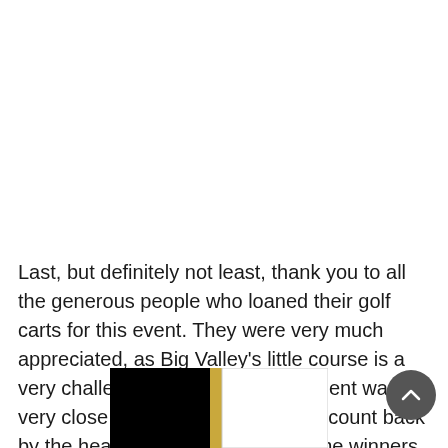Last, but definitely not least, thank you to all the generous people who loaned their golf carts for this event. They were very much appreciated, as Big Valley's little course is a very challenging hike. The tournament was a very close contest, necessitating a count back by the head honcho, Len Currie. The winners were Brian Butterfield and his fine team m...
[Figure (other): Partial image at the bottom of the page showing a black rectangle on the left, a narrow gold/yellow vertical stripe, and a white rectangle on the right. Appears to be a logo or banner partially visible.]